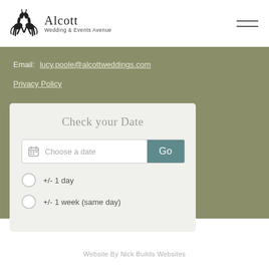Alcott Wedding & Events Venue
Email: lucy.poole@alcottweddings.com
Privacy Policy
[Figure (screenshot): Check your Date widget with date picker input field and Go button, plus two radio options: +/- 1 day and +/- 1 week (same day)]
Website By Nick Builds Websites